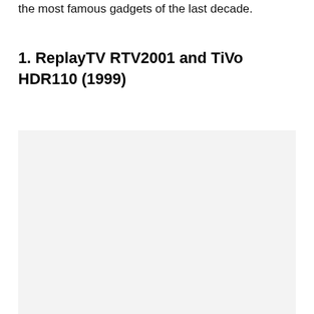the most famous gadgets of the last decade.
1. ReplayTV RTV2001 and TiVo HDR110 (1999)
[Figure (photo): Large light gray placeholder image box]